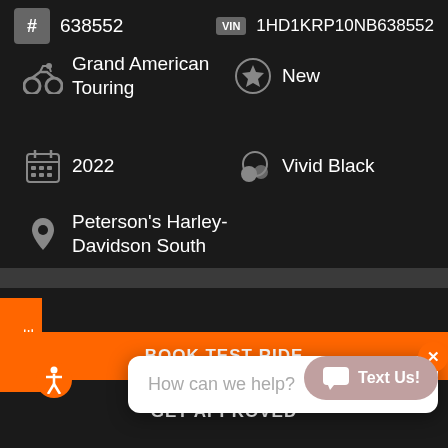638552
VIN 1HD1KRP10NB638552
Grand American Touring
New
2022
Vivid Black
Peterson's Harley-Davidson South
Don't miss out! 28 people have recently viewed this.
How can we help?
BOOK TEST RIDE
GET APPROVED
ADE VALUE
Text Us!